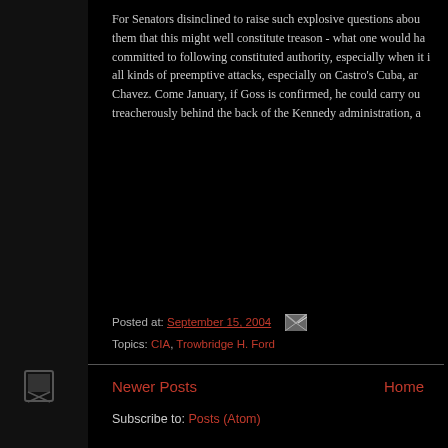For Senators disinclined to raise such explosive questions abou them that this might well constitute treason - what one would ha committed to following constituted authority, especially when it i all kinds of preemptive attacks, especially on Castro's Cuba, ar Chavez. Come January, if Goss is confirmed, he could carry ou treacherously behind the back of the Kennedy administration, a
Posted at: September 15, 2004
Topics: CIA, Trowbridge H. Ford
Newer Posts    Home
Subscribe to: Posts (Atom)